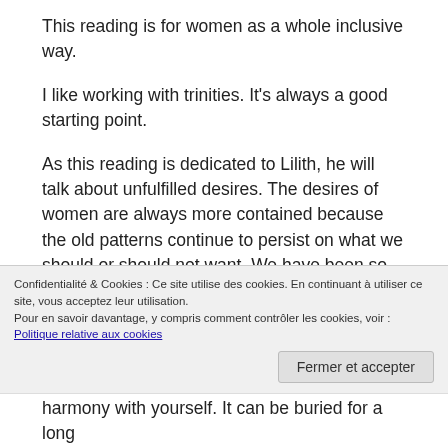This reading is for women as a whole inclusive way.
I like working with trinities. It’s always a good starting point.
As this reading is dedicated to Lilith, he will talk about unfulfilled desires. The desires of women are always more contained because the old patterns continue to persist on what we should or should not want. We have been so normalized in our desires because they were considered as a danger that we self-censor ourselves, sometimes even in
Confidentialité & Cookies : Ce site utilise des cookies. En continuant à utiliser ce site, vous acceptez leur utilisation.
Pour en savoir davantage, y compris comment contrôler les cookies, voir : Politique relative aux cookies
Fermer et accepter
harmony with yourself. It can be buried for a long